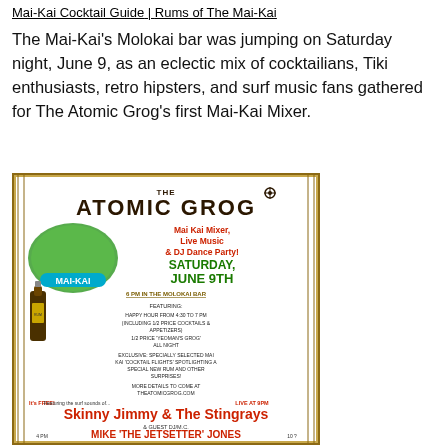Mai-Kai Cocktail Guide | Rums of The Mai-Kai
The Mai-Kai's Molokai bar was jumping on Saturday night, June 9, as an eclectic mix of cocktailians, Tiki enthusiasts, retro hipsters, and surf music fans gathered for The Atomic Grog's first Mai-Kai Mixer.
[Figure (illustration): Event flyer for The Atomic Grog's Mai-Kai Mixer. Features 'The Atomic Grog' title in bold, 'Mai Kai Mixer, Live Music & DJ Dance Party!' in red, date 'Saturday, June 9th' in green, '6 PM in the Molokai Bar', event details including happy hour, cocktail flights, featuring Skinny Jimmy & The Stingrays, and guest DJ Mike 'The Jetsetter' Jones.]